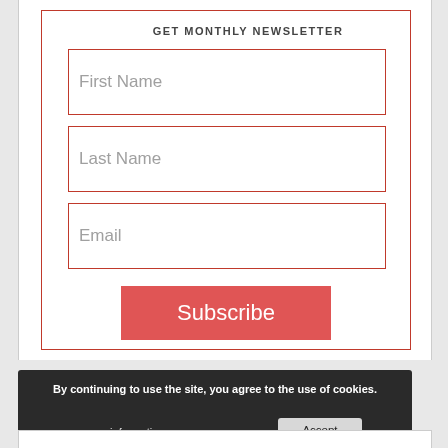GET MONTHLY NEWSLETTER
First Name
Last Name
Email
Subscribe
By continuing to use the site, you agree to the use of cookies.
more information
Accept